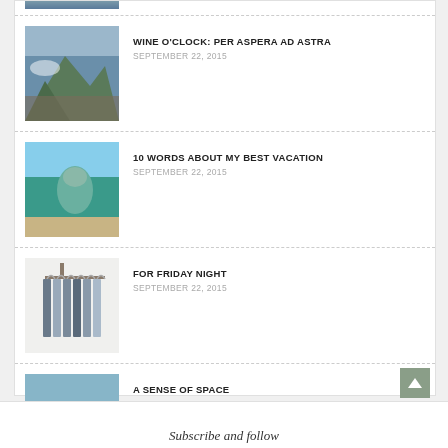[Figure (photo): Partial thumbnail of mountain/outdoor scene at top]
WINE O'CLOCK: PER ASPERA AD ASTRA
SEPTEMBER 22, 2015
10 WORDS ABOUT MY BEST VACATION
SEPTEMBER 22, 2015
FOR FRIDAY NIGHT
SEPTEMBER 22, 2015
A SENSE OF SPACE
SEPTEMBER 22, 2015
Subscribe and follow